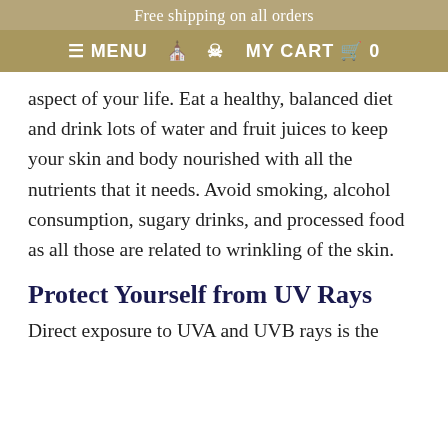Free shipping on all orders
≡ MENU  🏠  👤  MY CART  🛒  0
aspect of your life. Eat a healthy, balanced diet and drink lots of water and fruit juices to keep your skin and body nourished with all the nutrients that it needs. Avoid smoking, alcohol consumption, sugary drinks, and processed food as all those are related to wrinkling of the skin.
Protect Yourself from UV Rays
Direct exposure to UVA and UVB rays is the leading cause of premature aging and...